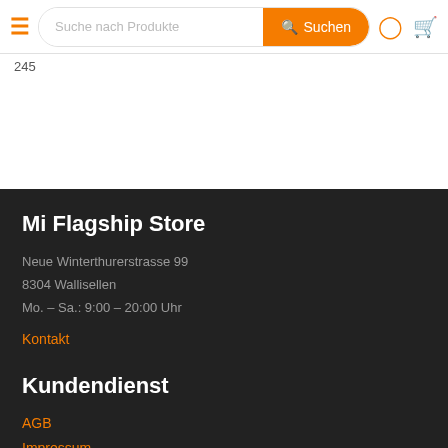Suche nach Produkte  Suchen
245
Mi Flagship Store
Neue Winterthurerstrasse 99
8304 Wallisellen
Mo. – Sa.: 9:00 – 20:00 Uhr
Kontakt
Kundendienst
AGB
Impressum